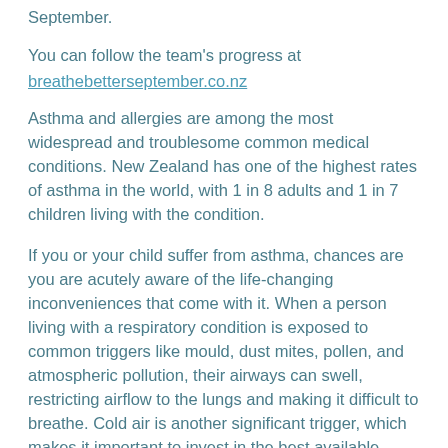September.
You can follow the team's progress at breathebetterseptember.co.nz
Asthma and allergies are among the most widespread and troublesome common medical conditions. New Zealand has one of the highest rates of asthma in the world, with 1 in 8 adults and 1 in 7 children living with the condition.
If you or your child suffer from asthma, chances are you are acutely aware of the life-changing inconveniences that come with it. When a person living with a respiratory condition is exposed to common triggers like mould, dust mites, pollen, and atmospheric pollution, their airways can swell, restricting airflow to the lungs and making it difficult to breathe. Cold air is another significant trigger, which makes it important to invest in the best available heating solution.
Heat pumps are a great choice for families who suffer from seasonal allergies, and new research shows that appropriate